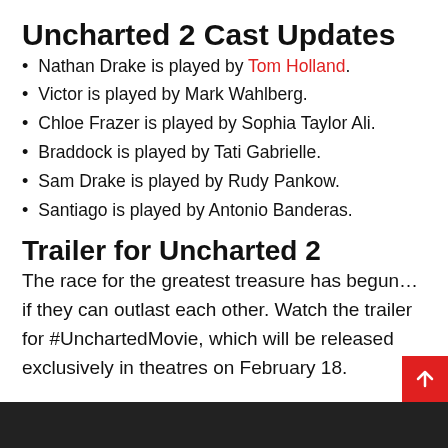Uncharted 2 Cast Updates
Nathan Drake is played by Tom Holland.
Victor is played by Mark Wahlberg.
Chloe Frazer is played by Sophia Taylor Ali.
Braddock is played by Tati Gabrielle.
Sam Drake is played by Rudy Pankow.
Santiago is played by Antonio Banderas.
Trailer for Uncharted 2
The race for the greatest treasure has begun… if they can outlast each other. Watch the trailer for #UnchartedMovie, which will be released exclusively in theatres on February 18.
[Figure (photo): Dark image at the bottom of the page, partially visible]